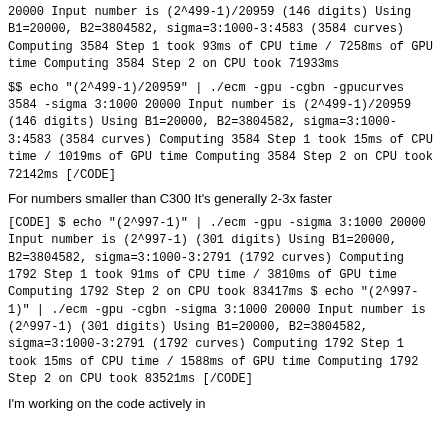20000
Input number is (2^499-1)/20959 (146 digits)
Using B1=20000, B2=3804582, sigma=3:1000-3:4583 (3584 curves)
Computing 3584 Step 1 took 93ms of CPU time / 7258ms of GPU time
Computing 3584 Step 2 on CPU took 71933ms
$$ echo "(2^499-1)/20959" | ./ecm -gpu -cgbn -gpucurves 3584 -sigma 3:1000 20000
Input number is (2^499-1)/20959 (146 digits)
Using B1=20000, B2=3804582, sigma=3:1000-3:4583 (3584 curves)
Computing 3584 Step 1 took 15ms of CPU time / 1019ms of GPU time
Computing 3584 Step 2 on CPU took 72142ms
[/CODE]
For numbers smaller than C300 It's generally 2-3x faster
[CODE]
$ echo "(2^997-1)" | ./ecm -gpu -sigma 3:1000 20000
Input number is (2^997-1) (301 digits)
Using B1=20000, B2=3804582, sigma=3:1000-3:2791 (1792 curves)
Computing 1792 Step 1 took 91ms of CPU time / 3810ms of GPU time
Computing 1792 Step 2 on CPU took 83417ms

$ echo "(2^997-1)" | ./ecm -gpu -cgbn -sigma 3:1000 20000
Input number is (2^997-1) (301 digits)
Using B1=20000, B2=3804582, sigma=3:1000-3:2791 (1792 curves)
Computing 1792 Step 1 took 15ms of CPU time / 1588ms of GPU time
Computing 1792 Step 2 on CPU took 83521ms
[/CODE]
I'm working on the code actively in